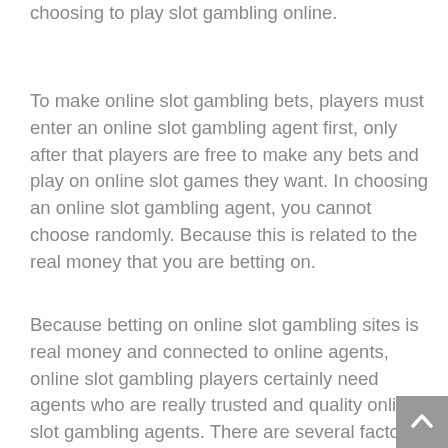choosing to play slot gambling online.
To make online slot gambling bets, players must enter an online slot gambling agent first, only after that players are free to make any bets and play on online slot games they want. In choosing an online slot gambling agent, you cannot choose randomly. Because this is related to the real money that you are betting on.
Because betting on online slot gambling sites is real money and connected to online agents, online slot gambling players certainly need agents who are really trusted and quality online slot gambling agents. There are several factors that can be used as a reference